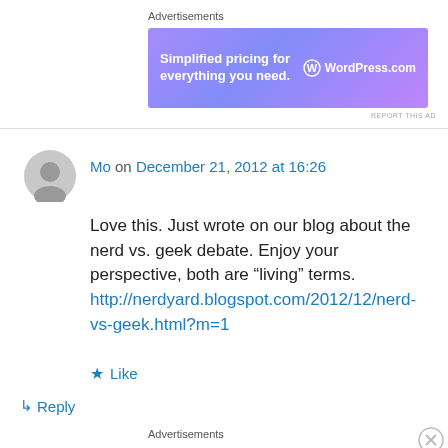Advertisements
[Figure (screenshot): WordPress.com advertisement banner: 'Simplified pricing for everything you need.' with WordPress.com logo on purple/blue gradient background]
REPORT THIS AD
Mo on December 21, 2012 at 16:26
Love this. Just wrote on our blog about the nerd vs. geek debate. Enjoy your perspective, both are “living” terms.
http://nerdyard.blogspot.com/2012/12/nerd-vs-geek.html?m=1
★ Like
↳ Reply
Advertisements
[Figure (screenshot): Day One journaling app advertisement: 'The only journaling app you’ll ever need.' on light blue background with app icons]